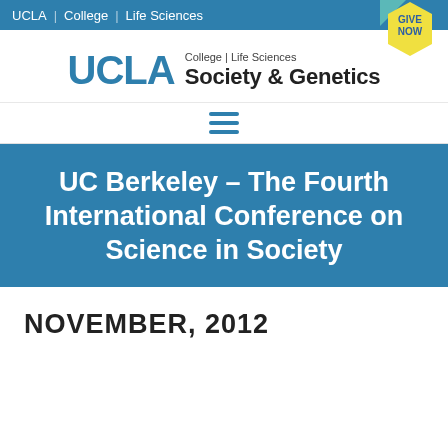UCLA | College | Life Sciences
[Figure (logo): UCLA College Life Sciences Society & Genetics logo with blue UCLA text and GIVE NOW hexagon badge]
[Figure (other): Hamburger menu icon (three horizontal blue lines)]
UC Berkeley – The Fourth International Conference on Science in Society
NOVEMBER, 2012